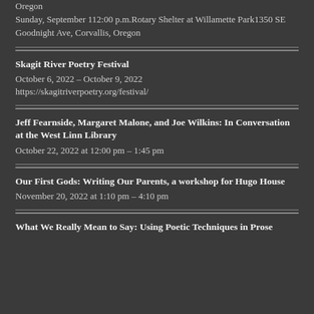Oregon
Sunday, September 112:00 p.m.Rotary Shelter at Willamette Park1350 SE Goodnight Ave, Corvallis, Oregon
Skagit River Poetry Festival
October 6, 2022 – October 9, 2022
https://skagitriverpoetry.org/festival/
Jeff Fearnside, Margaret Malone, and Joe Wilkins: In Conversation at the West Linn Library
October 22, 2022 at 12:00 pm – 1:45 pm
Our First Gods: Writing Our Parents, a workshop for Hugo House
November 20, 2022 at 1:10 pm – 4:10 pm
What We Really Mean to Say: Using Poetic Techniques in Prose